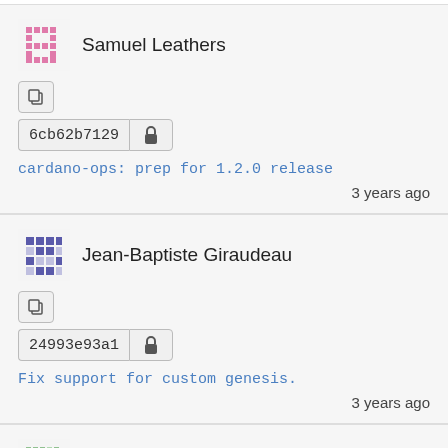Samuel Leathers
6cb62b7129
cardano-ops: prep for 1.2.0 release
3 years ago
Jean-Baptiste Giraudeau
24993e93a1
Fix support for custom genesis.
3 years ago
John Lotoski